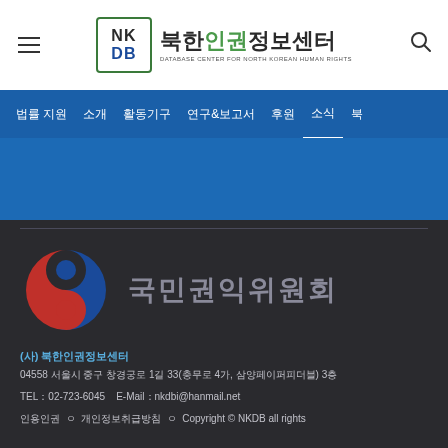[Figure (logo): NKDB 북한인권정보센터 logo with hamburger menu and search icon]
법률 지원  소개  활동기구  연구&보고서  후원  소식  북
[Figure (logo): 국민권익위원회 (National Rights Commission) logo with taegeuk symbol and Korean text]
(사) 북한인권정보센터
04558 서울시 중구 창경궁로 1길 33(충무로 4가, 삼양페이퍼피더블) 3층
TEL：02-723-6045    E-Mail：nkdbi@hanmail.net
인용인권  ㅇ  개인정보취급방침  ㅇ  Copyright © NKDB all rights